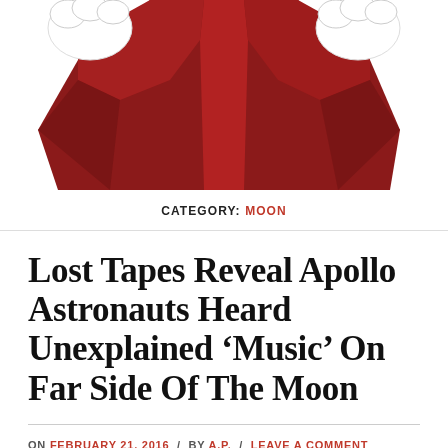[Figure (illustration): Partial view of a red cartoon/illustrated character or mascot figure — lower portion visible, with white gloved hands, on a white background.]
CATEGORY: MOON
Lost Tapes Reveal Apollo Astronauts Heard Unexplained ‘Music’ On Far Side Of The Moon
ON FEBRUARY 21, 2016 / BY A.P. / LEAVE A COMMENT